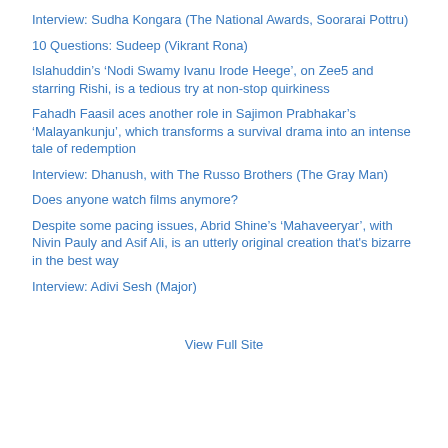Interview: Sudha Kongara (The National Awards, Soorarai Pottru)
10 Questions: Sudeep (Vikrant Rona)
Islahuddin’s ‘Nodi Swamy Ivanu Irode Heege’, on Zee5 and starring Rishi, is a tedious try at non-stop quirkiness
Fahadh Faasil aces another role in Sajimon Prabhakar’s ‘Malayankunju’, which transforms a survival drama into an intense tale of redemption
Interview: Dhanush, with The Russo Brothers (The Gray Man)
Does anyone watch films anymore?
Despite some pacing issues, Abrid Shine’s ‘Mahaveeryar’, with Nivin Pauly and Asif Ali, is an utterly original creation that's bizarre in the best way
Interview: Adivi Sesh (Major)
View Full Site